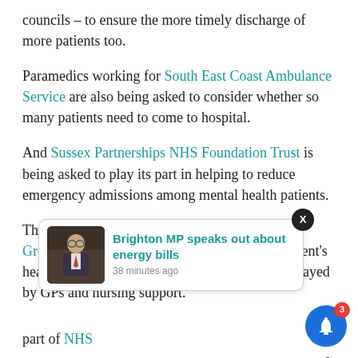councils – to ensure the more timely discharge of more patients too.
Paramedics working for South East Coast Ambulance Service are also being asked to consider whether so many patients need to come to hospital.
And Sussex Partnerships NHS Foundation Trust is being asked to play its part in helping to reduce emergency admissions among mental health patients.
The Brighton and Hove Clinical Commissioning Group – newly created by the coalition government's health reforms – has been considering the role played by GPs and nursing support.
...part of NHS...s to broad...their role.
[Figure (screenshot): A notification popup showing 'Brighton MP speaks out about energy bills' with a thumbnail of a man in parliament, timestamped '38 minutes ago'. An X close button appears above the popup, and a blue bell notification icon with badge '3' appears at bottom right.]